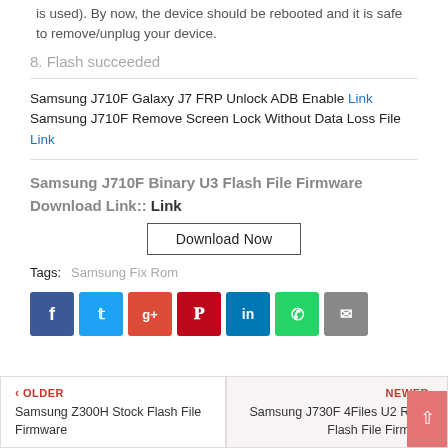is used). By now, the device should be rebooted and it is safe to remove/unplug your device.
8. Flash succeeded
Samsung J710F Galaxy J7 FRP Unlock ADB Enable Link
Samsung J710F Remove Screen Lock Without Data Loss File Link
Samsung J710F Binary U3 Flash File Firmware Download Link:: Link
[Figure (other): Download Now button]
Tags: Samsung Fix Rom
[Figure (other): Social sharing icons: Facebook, Twitter, Google+, Pinterest, LinkedIn, WhatsApp, Email]
OLDER Samsung Z300H Stock Flash File Firmware
NEWER Samsung J730F 4Files U2 Repair Flash File Firmware